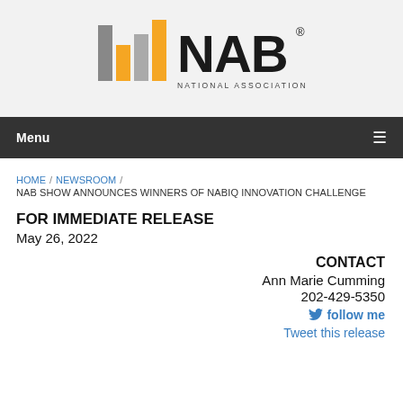[Figure (logo): NAB National Association of Broadcasters logo with colored bar graph icon in orange and gray]
Menu ≡
HOME / NEWSROOM / NAB SHOW ANNOUNCES WINNERS OF NABIQ INNOVATION CHALLENGE
FOR IMMEDIATE RELEASE
May 26, 2022
CONTACT
Ann Marie Cumming
202-429-5350
follow me
Tweet this release